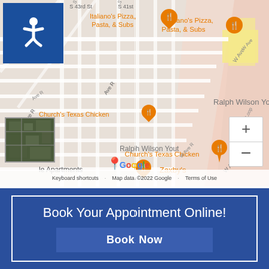[Figure (map): Google Maps screenshot showing street grid with landmarks: Italiano's Pizza Pasta & Subs, Church's Texas Chicken, Ralph Wilson Yout, Zaxby's, le Apartments. Shows S 41st St, S 43rd St, Ave R, W Ave R, SW West Loop roads. Accessibility icon top left, zoom controls right, thumbnail bottom left. Map data ©2022 Google.]
Book Your Appointment Online!
Book Now